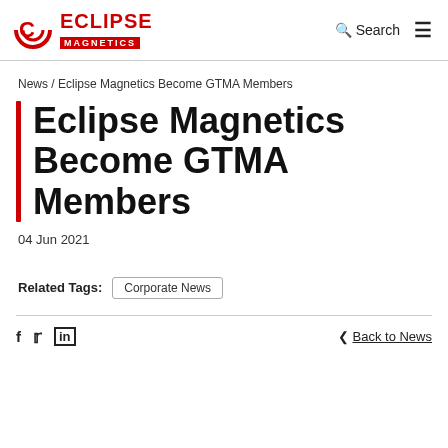[Figure (logo): Eclipse Magnetics logo with circular C icon and red text]
News / Eclipse Magnetics Become GTMA Members
Eclipse Magnetics Become GTMA Members
04 Jun 2021
Related Tags: Corporate News
f  in  < Back to News